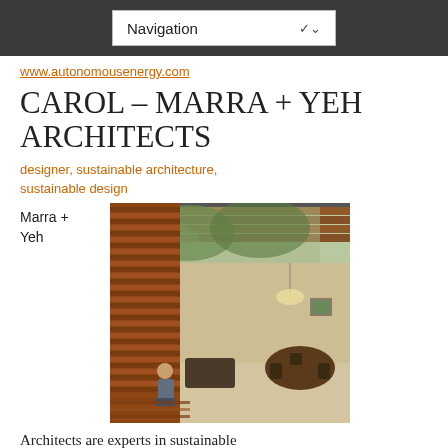Navigation
www.autonomousenergy.com
CAROL – MARRA + YEH ARCHITECTS
designer, sustainable architecture, sustainable design
Marra + Yeh
[Figure (photo): Exterior and interior view of a modern house with timber cladding, large glass sliding doors opening to a living/dining area, a person seated outside on timber decking, surrounded by trees.]
Architects are experts in sustainable